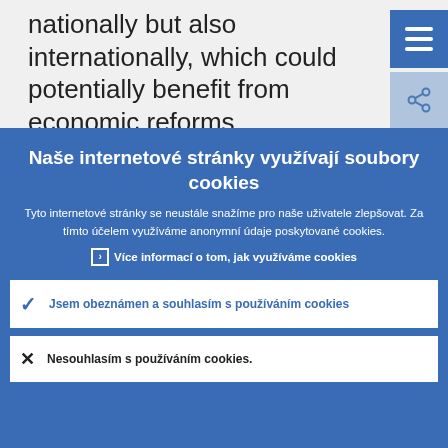nationally but also internationally, which could potentially benefit from economic reforms.
Naše internetové stránky využívají soubory cookies
Tyto internetové stránky se neustále snažíme pro naše uživatele zlepšovat. Za tímto účelem využíváme anonymní údaje poskytované cookies.
Více informací o tom, jak využíváme cookies
Jsem obeznámen a souhlasím s používáním cookies
Nesouhlasím s používáním cookies.